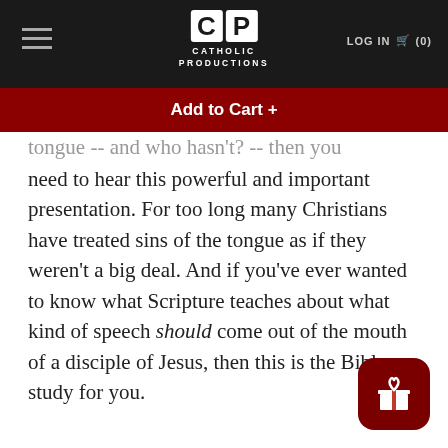Catholic Productions — LOG IN (0)
Add to Cart +
tongue -- and who hasn't? -- then you need to hear this powerful and important presentation. For too long many Christians have treated sins of the tongue as if they weren't a big deal. And if you've ever wanted to know what Scripture teaches about what kind of speech should come out of the mouth of a disciple of Jesus, then this is the Bible study for you.